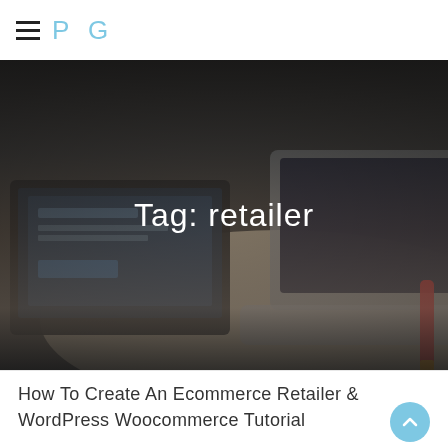PG
Tag: retailer
[Figure (photo): Person working at a desk with laptops, a marker, and a Sony VAIO laptop in the background, shot from above with dark overlay]
How To Create An Ecommerce Retailer & WordPress Woocommerce Tutorial